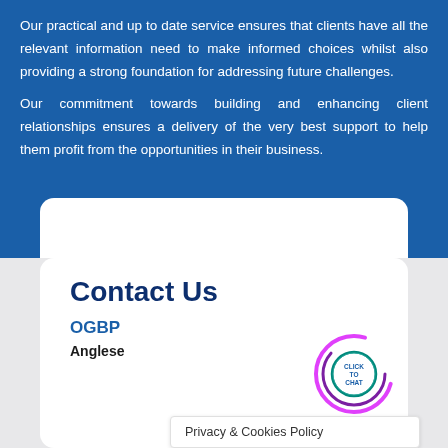Our practical and up to date service ensures that clients have all the relevant information need to make informed choices whilst also providing a strong foundation for addressing future challenges.
Our commitment towards building and enhancing client relationships ensures a delivery of the very best support to help them profit from the opportunities in their business.
Contact Us
OGBP
Anglese
[Figure (other): Click to Chat circular widget with magenta/purple ring and teal inner circle with 'CLICK TO CHAT' text]
Privacy & Cookies Policy